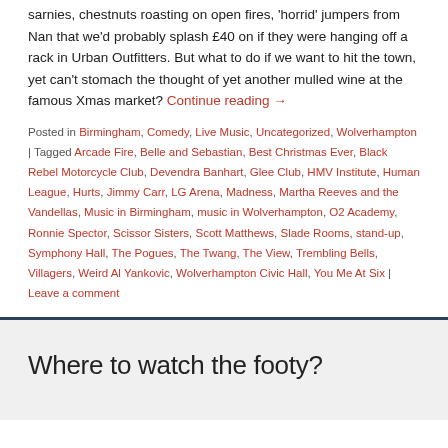sarnies, chestnuts roasting on open fires, 'horrid' jumpers from Nan that we'd probably splash £40 on if they were hanging off a rack in Urban Outfitters. But what to do if we want to hit the town, yet can't stomach the thought of yet another mulled wine at the famous Xmas market? Continue reading →
Posted in Birmingham, Comedy, Live Music, Uncategorized, Wolverhampton | Tagged Arcade Fire, Belle and Sebastian, Best Christmas Ever, Black Rebel Motorcycle Club, Devendra Banhart, Glee Club, HMV Institute, Human League, Hurts, Jimmy Carr, LG Arena, Madness, Martha Reeves and the Vandellas, Music in Birmingham, music in Wolverhampton, O2 Academy, Ronnie Spector, Scissor Sisters, Scott Matthews, Slade Rooms, stand-up, Symphony Hall, The Pogues, The Twang, The View, Trembling Bells, Villagers, Weird Al Yankovic, Wolverhampton Civic Hall, You Me At Six | Leave a comment
Where to watch the footy?